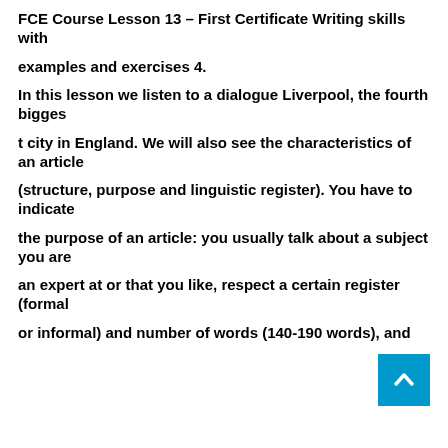FCE Course Lesson 13 – First Certificate Writing skills with
examples and exercises 4.
In this lesson we listen to a dialogue Liverpool, the fourth bigges
t city in England. We will also see the characteristics of an article
(structure, purpose and linguistic register). You have to indicate
the purpose of an article: you usually talk about a subject you are
an expert at or that you like, respect a certain register (formal
or informal) and number of words (140-190 words), and